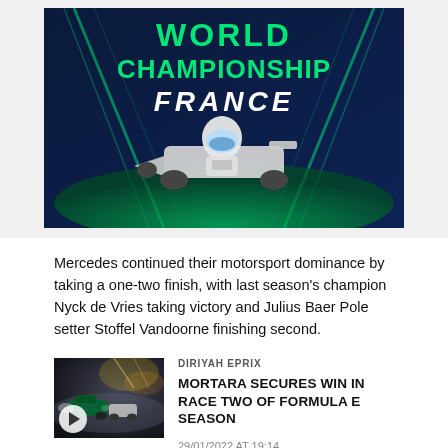[Figure (photo): Promotional banner for a karting World Championship in France. Dark blue background with green accent lines and the text 'WORLD CHAMPIONSHIP FRANCE' in large bold letters. A kart racer in a white kart is shown in the center.]
Mercedes continued their motorsport dominance by taking a one-two finish, with last season's champion Nyck de Vries taking victory and Julius Baer Pole setter Stoffel Vandoorne finishing second.
[Figure (photo): Thumbnail image of Formula E cars racing at night with bright lights and smoke/mist. A play button icon is overlaid at the bottom-left.]
DIRIYAH EPRIX
MORTARA SECURES WIN IN RACE TWO OF FORMULA E SEASON
29/01/2022 AT 19:14